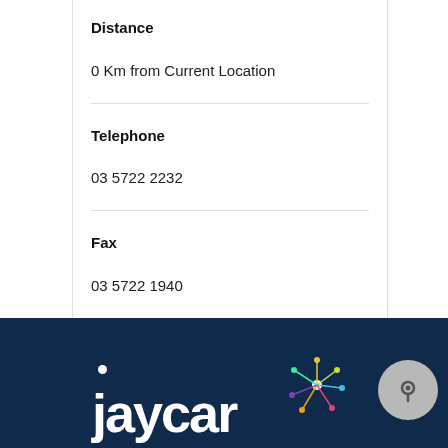Distance
0 Km from Current Location
Telephone
03 5722 2232
Fax
03 5722 1940
Store Content
Authorised Reseller
Carries a wide range of Jaycar products
[Figure (logo): Jaycar Electronics logo on dark navy blue background with colourful spark/atom graphic]